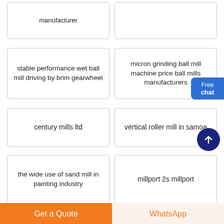manufacturer
stable performance wet ball mill driving by brim gearwheel
micron grinding ball mill machine price ball mills manufacturers
century mills ltd
vertical roller mill in samoa
the wide use of sand mill in painting industry
millport 2s millport
mill sand mill
mill gold ore zanith
Get a Quote
WhatsApp